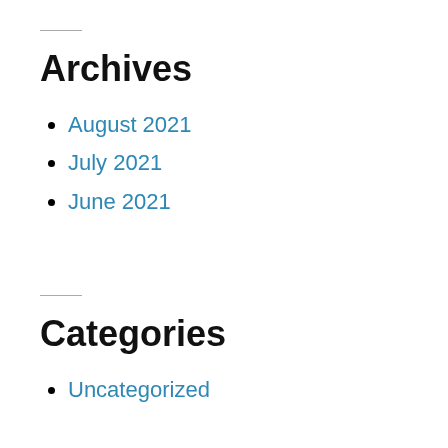Archives
August 2021
July 2021
June 2021
Categories
Uncategorized